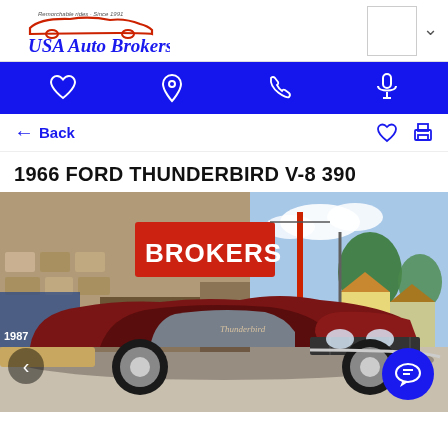[Figure (logo): USA Auto Brokers logo with red car silhouette and italic blue script text, tagline above]
[Figure (infographic): Blue navigation bar with four white icons: heart (favorites), location pin, phone, microphone]
← Back
1966 FORD THUNDERBIRD V-8 390
[Figure (photo): 1966 Ford Thunderbird in dark red/maroon color parked in front of USA Auto Brokers dealership. Stone building with large red BROKERS sign. Blue sky with clouds. Trees and houses visible in background.]